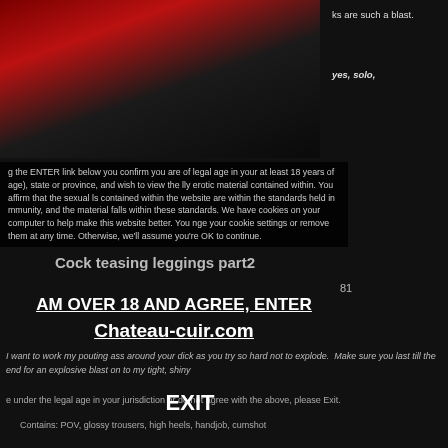[Figure (photo): Photo of two women in red and black leather/latex leggings]
ks are such a blast.
yes, solo,
g the ENTER link below you confirm you are of legal age in your at least 18 years of age), state or province, and wish to view the lly erotic material contained within. You affirm that the sexual ls contained within the website are within the standards held in mmunity, and the material falls within these standards. We have cookies on your computer to help make this website better. You nge your cookie settings or remove them at any time. Otherwise, we'll assume you're OK to continue.
Cock teasing leggings part2
81
I want to work my pouting ass around your dick as you try so hard not to explode. Make sure you last till the end for an explosive blast on to my tight, shiny
AM OVER 18 AND AGREE, ENTER Chateau-cuir.com
e under the legal age in your jurisdiction or do not agree with the above, please Exit.
Contains: POV, glossy trousers, high heels, handjob, cumshot
EXIT